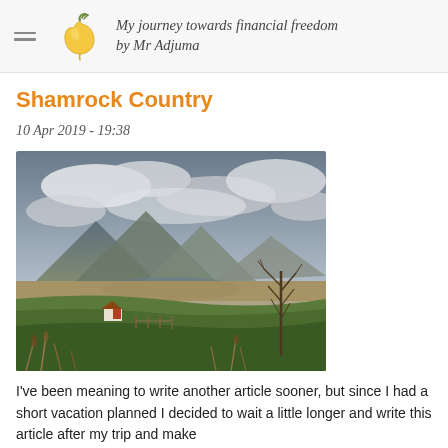My journey towards financial freedom by Mr Adjuma
Shamrock Country
10 Apr 2019 - 19:38
[Figure (photo): Landscape photo of Irish countryside with mountains, a lake, green fields, a farmhouse, bare trees, and dramatic cloudy sky]
I've been meaning to write another article sooner, but since I had a short vacation planned I decided to wait a little longer and write this article after my trip and make